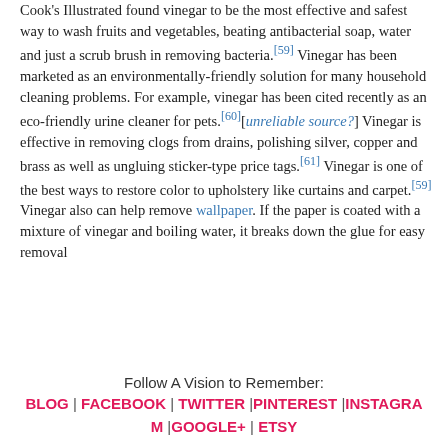Cook's Illustrated found vinegar to be the most effective and safest way to wash fruits and vegetables, beating antibacterial soap, water and just a scrub brush in removing bacteria.[59] Vinegar has been marketed as an environmentally-friendly solution for many household cleaning problems. For example, vinegar has been cited recently as an eco-friendly urine cleaner for pets.[60][unreliable source?] Vinegar is effective in removing clogs from drains, polishing silver, copper and brass as well as ungluing sticker-type price tags.[61] Vinegar is one of the best ways to restore color to upholstery like curtains and carpet.[59] Vinegar also can help remove wallpaper. If the paper is coated with a mixture of vinegar and boiling water, it breaks down the glue for easy removal
Follow A Vision to Remember:
BLOG | FACEBOOK | TWITTER |PINTEREST |INSTAGRAM |GOOGLE+ | ETSY